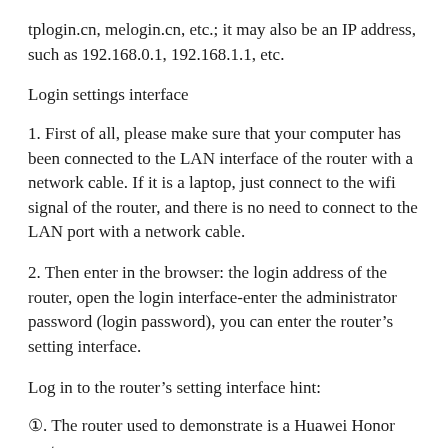tplogin.cn, melogin.cn, etc.; it may also be an IP address, such as 192.168.0.1, 192.168.1.1, etc.
Login settings interface
1. First of all, please make sure that your computer has been connected to the LAN interface of the router with a network cable. If it is a laptop, just connect to the wifi signal of the router, and there is no need to connect to the LAN port with a network cable.
2. Then enter in the browser: the login address of the router, open the login interface-enter the administrator password (login password), you can enter the router’s setting interface.
Log in to the router’s setting interface hint:
①. The router used to demonstrate is a Huawei Honor router,